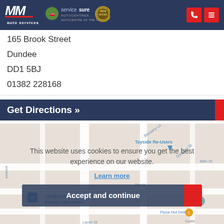[Figure (logo): MM Auto Services logo with Servicesure Autocentres badge and 2019 winner medallion, phone and menu icons on dark navy header]
165 Brook Street
Dundee
DD1 5BJ
01382 228168
Get Directions »
[Figure (map): Google Maps screenshot showing area around 165 Brook Street, Dundee, with cookie consent overlay. Visible landmarks: Tayside Re-Users, Co-op Food Dundee Blackness, Verdant Works, Pizza Hut Delivery, Avertical World Climbing Centre. Cookie notice: This website uses cookies to ensure you get the best experience on our website. Learn more. Accept and continue button.]